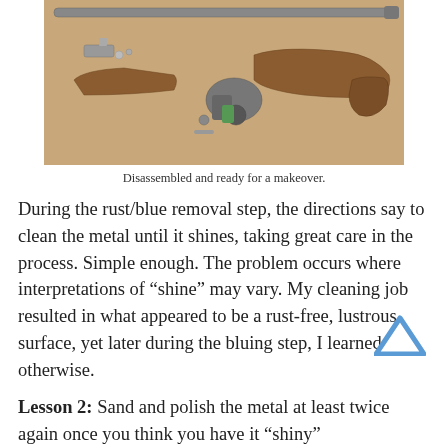[Figure (photo): Disassembled rifle/shotgun parts laid out on a tan surface, including barrel, wooden stock, grip pieces, trigger mechanism, and small hardware components.]
Disassembled and ready for a makeover.
During the rust/blue removal step, the directions say to clean the metal until it shines, taking great care in the process. Simple enough. The problem occurs where interpretations of “shine” may vary. My cleaning job resulted in what appeared to be a rust-free, lustrous surface, yet later during the bluing step, I learned otherwise.
Lesson 2: Sand and polish the metal at least twice again once you think you have it “shiny”